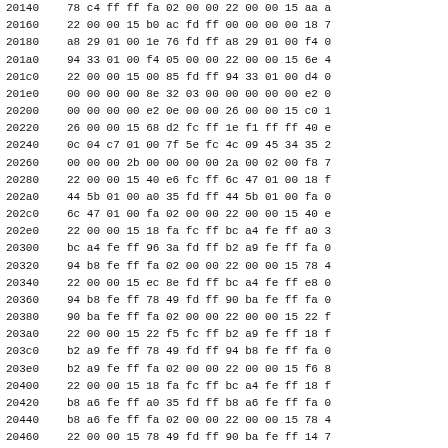| Address | Hex Data |
| --- | --- |
| 20140 | 78 c4 ff ff fa 02 00 00 22 00 00 15 aa a |
| 20160 | 22 00 00 15 b0 ac fd ff 00 00 00 00 18 7 |
| 20180 | a8 29 01 00 1e 76 fd ff a8 29 01 00 f4 0 |
| 201a0 | 94 33 01 00 f4 05 00 00 22 00 00 15 6e 4 |
| 201c0 | 22 00 00 15 00 85 fd ff 94 33 01 00 d4 0 |
| 201e0 | 00 00 00 00 8e 32 03 00 00 00 00 00 e2 0 |
| 20200 | 00 00 00 00 e2 0e 00 00 26 00 00 15 c0 1 |
| 20220 | 26 00 00 15 68 d2 fc ff 1e f1 ff ff 40 e |
| 20240 | 0c 04 c7 01 00 7f 5e fc 4c 09 45 34 35 2 |
| 20260 | 00 00 00 2b 00 00 00 00 2a 00 02 00 f8 7 |
| 20280 | 22 00 00 15 40 e6 fc ff 6c 47 01 00 18 f |
| 202a0 | 44 5b 01 00 a0 35 fd ff 44 5b 01 00 fa 0 |
| 202c0 | 6c 47 01 00 fa 02 00 00 22 00 00 15 40 e |
| 202e0 | 22 00 00 15 18 fa fc ff bc a4 fe ff a0 3 |
| 20300 | bc a4 fe ff 96 3a fd ff b2 a9 fe ff fa 0 |
| 20320 | 94 b8 fe ff fa 02 00 00 22 00 00 15 78 4 |
| 20340 | 22 00 00 15 ec 8e fd ff bc a4 fe ff e8 0 |
| 20360 | 94 b8 fe ff 78 49 fd ff 90 ba fe ff fa 0 |
| 20380 | 90 ba fe ff fa 02 00 00 22 00 00 15 22 f |
| 203a0 | 22 00 00 15 22 f5 fc ff b2 a9 fe ff 18 f |
| 203c0 | b2 a9 fe ff 78 49 fd ff 94 b8 fe ff fa 0 |
| 203e0 | b2 a9 fe ff fa 02 00 00 22 00 00 15 f6 8 |
| 20400 | 22 00 00 15 18 fa fc ff bc a4 fe ff 18 f |
| 20420 | b8 a6 fe ff a0 35 fd ff b8 a6 fe ff fa 0 |
| 20440 | b8 a6 fe ff fa 02 00 00 22 00 00 15 78 4 |
| 20460 | 22 00 00 15 78 49 fd ff 90 ba fe ff 14 7 |
| 20480 | 90 ba fe ff 78 49 fd ff 8a bd fe ff fa 0 |
| 204a0 | 8a bd fe ff fa 02 00 00 22 00 00 15 ec 8 |
| 204c0 | 22 00 00 15 e8 05 03 00 bc a4 fe ff de 0 |
| 204e0 | b2 a9 fe ff de 0a 03 00 b2 a9 fe ff fa 0 |